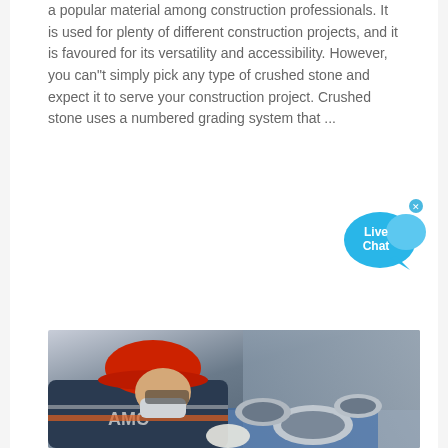a popular material among construction professionals. It is used for plenty of different construction projects, and it is favoured for its versatility and accessibility. However, you can"t simply pick any type of crushed stone and expect it to serve your construction project. Crushed stone uses a numbered grading system that ...
[Figure (other): Live Chat speech bubble widget with blue chat bubble icon and 'x' close button]
[Figure (other): Orange 'Get Quote' button]
[Figure (photo): A worker wearing a red hard hat, face mask, and AMC uniform jacket, examining steel cylindrical rings/bushings on a blue surface in an industrial setting]